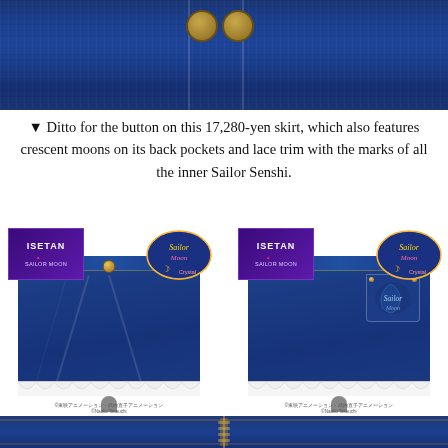[Figure (photo): Close-up of dark blue denim fabric with button details and stitching]
▼ Ditto for the button on this 17,280-yen skirt, which also features crescent moons on its back pockets and lace trim with the marks of all the inner Sailor Senshi.
[Figure (photo): Front and back views of a dark blue denim skirt with gold button, crescent moon back pocket embroidery, and white lace trim. Isetan x Sailor Moon branding badges visible. Copyright ©東映アニメーション / ©Naoko Takeuchi shown on each image.]
[Figure (photo): Close-up of dark blue denim fabric with zipper detail at bottom of page]